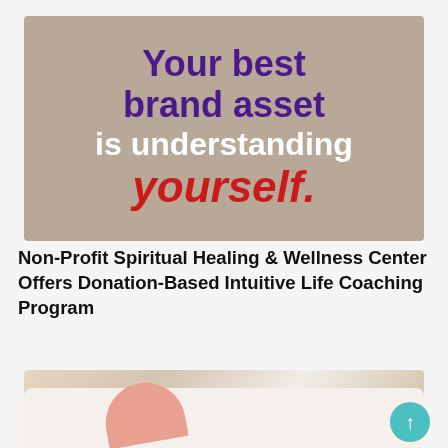[Figure (illustration): Motivational quote image on brown/taupe background with text: 'Your best brand asset is understanding yourself.' in purple, white, and red bold text.]
Non-Profit Spiritual Healing & Wellness Center Offers Donation-Based Intuitive Life Coaching Program
[Figure (photo): Person lying on a white sofa/couch holding pink and brown decorative pillows, partial view from above.]